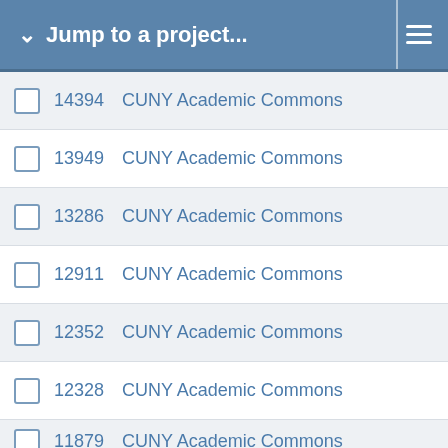Jump to a project...
14394   CUNY Academic Commons
13949   CUNY Academic Commons
13286   CUNY Academic Commons
12911   CUNY Academic Commons
12352   CUNY Academic Commons
12328   CUNY Academic Commons
11879   CUNY Academic Commons